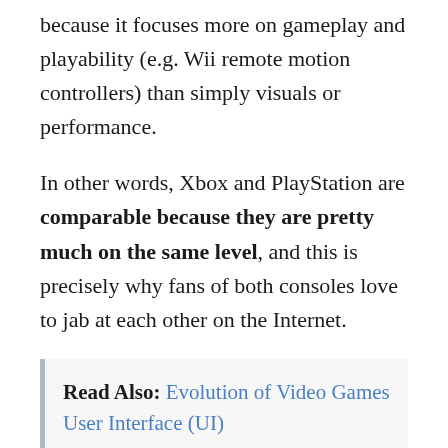because it focuses more on gameplay and playability (e.g. Wii remote motion controllers) than simply visuals or performance.
In other words, Xbox and PlayStation are comparable because they are pretty much on the same level, and this is precisely why fans of both consoles love to jab at each other on the Internet.
Read Also: Evolution of Video Games User Interface (UI)
But guess what? If one is to compare and contrast